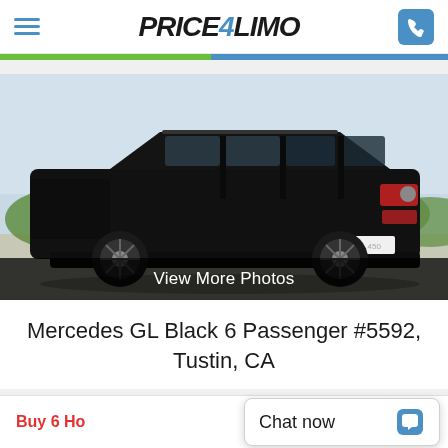PRICE4LIMO — navigation header with hamburger menu and phone button
[Figure (photo): Black Mercedes GL SUV (GL 450) photographed from rear three-quarter angle, parked outdoors with green shrubs and light sky in background]
View More Photos
Mercedes GL Black 6 Passenger #5592, Tustin, CA
Buy 6 Ho... Chat now